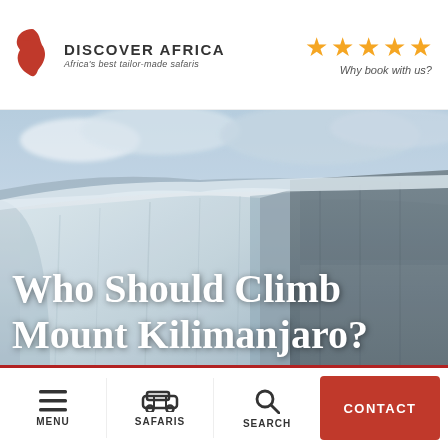DISCOVER AFRICA — Africa's best tailor-made safaris — ★★★★★ Why book with us?
[Figure (photo): Aerial photograph of the snowy glaciers and cliffs of Mount Kilimanjaro with cloudy sky in the background]
Who Should Climb Mount Kilimanjaro?
MENU | SAFARIS | SEARCH | CONTACT